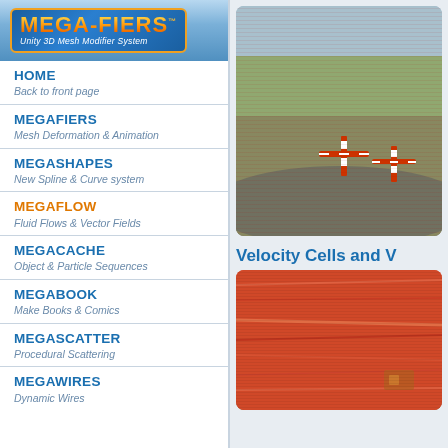[Figure (logo): MEGA-FIERS logo — Unity 3D Mesh Modifier System]
HOME
Back to front page
MEGAFIERS
Mesh Deformation & Animation
MEGASHAPES
New Spline & Curve system
MEGAFLOW
Fluid Flows & Vector Fields
MEGACACHE
Object & Particle Sequences
MEGABOOK
Make Books & Comics
MEGASCATTER
Procedural Scattering
MEGAWIRES
Dynamic Wires
[Figure (screenshot): Road scene with orange and white barriers/cones on pavement — MegaFlow demo]
Velocity Cells and V
[Figure (screenshot): Red fluid/flow visualization — MegaFlow velocity cells demo]